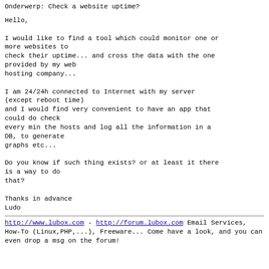Onderwerp: Check a website uptime?
Hello,

I would like to find a tool which could monitor one or more websites to
check their uptime... and cross the data with the one provided by my web
hosting company...

I am 24/24h connected to Internet with my server (except reboot time)
and I would find very convenient to have an app that could do check
every min the hosts and log all the information in a DB, to generate
graphs etc...

Do you know if such thing exists? or at least it there is a way to do
that?

Thanks in advance
Ludo
http://www.lubox.com - http://forum.lubox.com
Email Services, How-To (Linux,PHP,...), Freeware...
Come have a look, and you can even drop a msg on the forum!